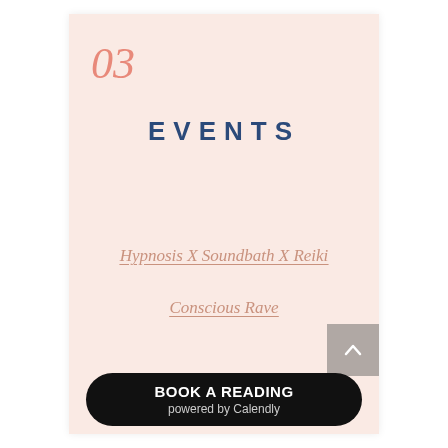03
EVENTS
Hypnosis X Soundbath X Reiki
Conscious Rave
[Figure (other): Back-to-top button with upward chevron arrow on grey square background]
BOOK A READING powered by Calendly